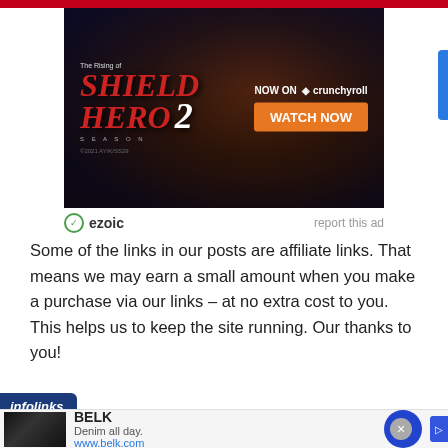[Figure (photo): Advertisement for 'The Rising of the Shield Hero Season 2' anime, showing anime characters with text 'NOW ON crunchyroll' and an orange 'WATCH NOW' button. Copyright 2021 AY/K/SS29.]
ezoic   report this ad
Some of the links in our posts are affiliate links. That means we may earn a small amount when you make a purchase via our links – at no extra cost to you. This helps us to keep the site running. Our thanks to you!
[Figure (screenshot): Infolinks ad bar showing a BELK advertisement with text 'Denim all day.' and 'www.belk.com' with a navigation arrow button.]